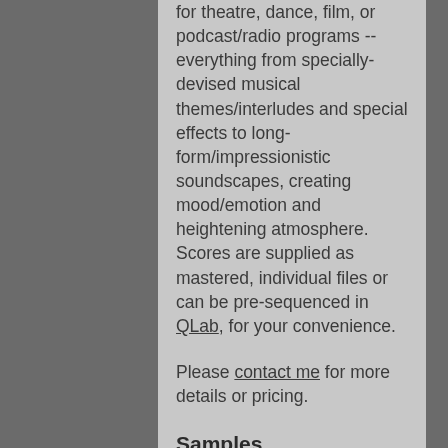for theatre, dance, film, or podcast/radio programs -- everything from specially-devised musical themes/interludes and special effects to long-form/impressionistic soundscapes, creating mood/emotion and heightening atmosphere. Scores are supplied as mastered, individual files or can be pre-sequenced in QLab, for your convenience.
Please contact me for more details or pricing.
Samples
Film/Game Music Portfolio